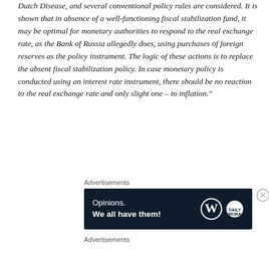Dutch Disease, and several conventional policy rules are considered. It is shown that in absence of a well-functioning fiscal stabilization fund, it may be optimal for monetary authorities to respond to the real exchange rate, as the Bank of Russia allegedly does, using purchases of foreign reserves as the policy instrument. The logic of these actions is to replace the absent fiscal stabilization policy. In case monetary policy is conducted using an interest rate instrument, there should be no reaction to the real exchange rate and only slight one – to inflation."
Advertisements
[Figure (other): Advertisement banner with dark navy background. Text reads: 'Opinions. We all have them!' with WordPress logo and another circular logo on the right.]
Advertisements